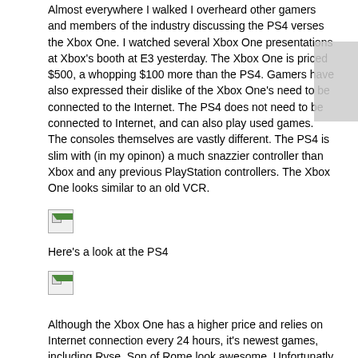Almost everywhere I walked I overheard other gamers and members of the industry discussing the PS4 verses the Xbox One. I watched several Xbox One presentations at Xbox's booth at E3 yesterday. The Xbox One is priced $500, a whopping $100 more than the PS4. Gamers have also expressed their dislike of the Xbox One's need to be connected to the Internet. The PS4 does not need to be connected to Internet, and can also play used games. The consoles themselves are vastly different. The PS4 is slim with (in my opinon) a much snazzier controller than Xbox and any previous PlayStation controllers. The Xbox One looks similar to an old VCR.
[Figure (photo): Broken image placeholder]
Here's a look at the PS4
[Figure (photo): Broken image placeholder]
Although the Xbox One has a higher price and relies on Internet connection every 24 hours, it's newest games, including Ryse, Son of Rome look awesome. Unfortunatly I didn't get to demo the game myself, but the gameplay I saw was intense, exciting and the graphics were excellent.
I spent the rest of my time at E3 walking around and taking everything in and even braved some lines in an attempt to play some games. DC's online team-based epic Infinte Crisis looks frakking awesome.
Here's a look at Day 1 at E3 in photos: